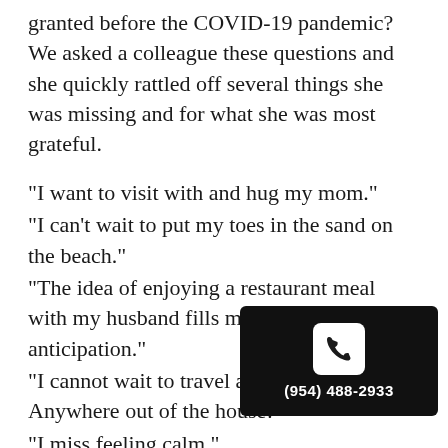granted before the COVID-19 pandemic? We asked a colleague these questions and she quickly rattled off several things she was missing and for what she was most grateful.
“I want to visit with and hug my mom.”
“I can’t wait to put my toes in the sand on the beach.”
“The idea of enjoying a restaurant meal with my husband fills me with anticipation.”
“I cannot wait to travel and go on vacation. Anywhere out of the house!”
“I miss feeling calm.”
“I’m really looking forward to … work.”
[Figure (other): Black rounded rectangle overlay with white phone handset icon and phone number (954) 488-2933 in white text]